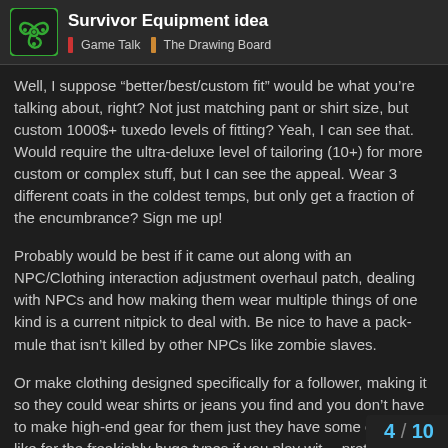Survivor Equipment idea | Game Talk | The Drawing Board
Well, I suppose “better/best/custom fit” would be what you’re talking about, right? Not just matching pant or shirt size, but custom 1000$+ tuxedo levels of fitting? Yeah, I can see that. Would require the ultra-deluxe level of tailoring (10+) for more custom or complex stuff, but I can see the appeal. Wear 3 different coats in the coldest temps, but only get a fraction of the encumbrance? Sign me up!
Probably would be best if it came out along with an NPC/Clothing interaction adjustment overhaul patch, dealing with NPCs and how making them wear multiple things of one kind is a current nitpick to deal with. Be nice to have a pack-mule that isn’t killed by other NPCs like zombie slaves.
Or make clothing designed specifically for a follower, making it so they could wear shirts or jeans you find and you don’t have to make high-end gear for them just they have some clothes, like for the freakishly huge types if you play wit… pretty nice.
4 / 10